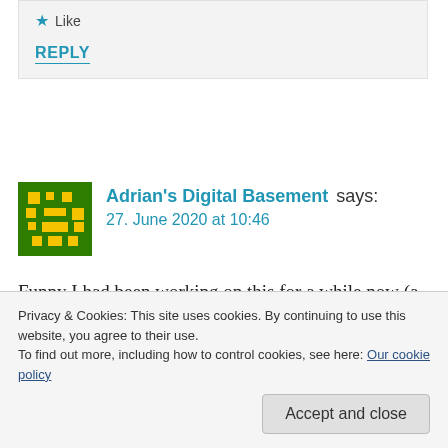★ Like
REPLY
[Figure (illustration): Pixel avatar icon: green and yellow blocky character image]
Adrian's Digital Basement says:
27. June 2020 at 10:46
Funny I had been working on this for a while now (a few months) and just came across your post here. Couple question — what kind of Pi are you using? I'm
Privacy & Cookies: This site uses cookies. By continuing to use this website, you agree to their use. To find out more, including how to control cookies, see here: Our cookie policy
Accept and close